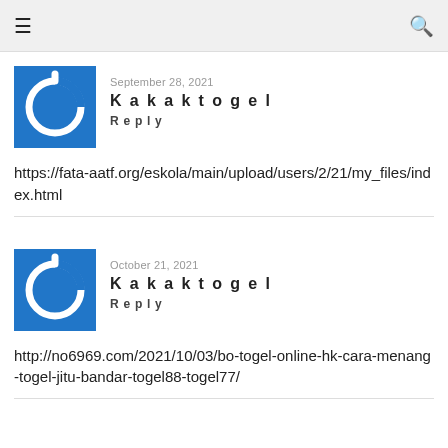≡  🔍
September 28, 2021
Kakaktogel
Reply
https://fata-aatf.org/eskola/main/upload/users/2/21/my_files/index.html
October 21, 2021
Kakaktogel
Reply
http://no6969.com/2021/10/03/bo-togel-online-hk-cara-menang-togel-jitu-bandar-togel88-togel77/